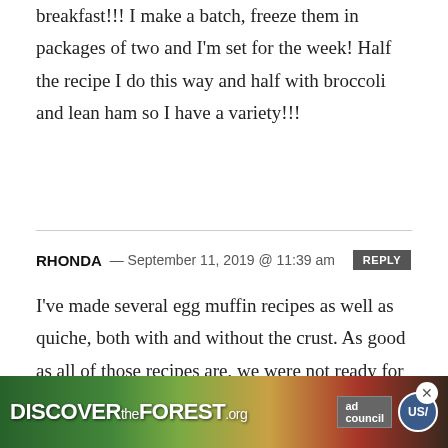breakfast!!! I make a batch, freeze them in packages of two and I’m set for the week! Half the recipe I do this way and half with broccoli and lean ham so I have a variety!!!
RHONDA — September 11, 2019 @ 11:39 am
I’ve made several egg muffin recipes as well as quiche, both with and without the crust. As good as all of those recipes are, we were not ready for the wonderful taste explosion with these! Because of the flour we did not miss the crust at all. The only changes, if you want to call them that, were: I used 6 oz. of my homemade turkey sausage...
[Figure (other): Advertisement banner for DiscoverTheForest.org with forest background imagery, ad council and USDA logos, and a close button]